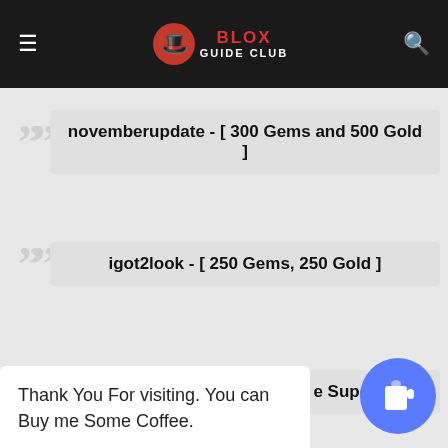BLOX GUIDE CLUB
novemberupdate - [ 300 Gems and 500 Gold ]
igot2look - [ 250 Gems, 250 Gold ]
100ksubnavyxflame - [ 300 ... Super ... ]
Thank You For visiting. You can Buy me Some Coffee.
-astddevs - Exp IV